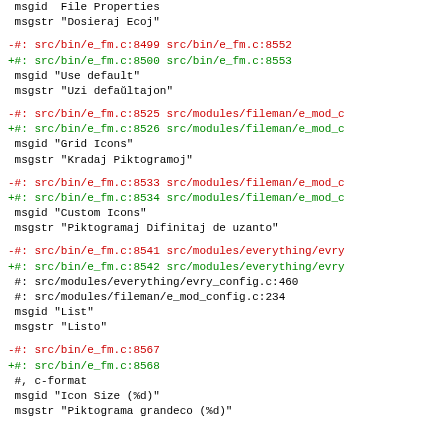msgid  File Properties
msgstr "Dosieraj Ecoj"
-#: src/bin/e_fm.c:8499 src/bin/e_fm.c:8552
+#: src/bin/e_fm.c:8500 src/bin/e_fm.c:8553
 msgid "Use default"
 msgstr "Uzi defaŭltajon"
-#: src/bin/e_fm.c:8525 src/modules/fileman/e_mod_c
+#: src/bin/e_fm.c:8526 src/modules/fileman/e_mod_c
 msgid "Grid Icons"
 msgstr "Kradaj Piktogramoj"
-#: src/bin/e_fm.c:8533 src/modules/fileman/e_mod_c
+#: src/bin/e_fm.c:8534 src/modules/fileman/e_mod_c
 msgid "Custom Icons"
 msgstr "Piktogramaj Difinitaj de uzanto"
-#: src/bin/e_fm.c:8541 src/modules/everything/evry
+#: src/bin/e_fm.c:8542 src/modules/everything/evry
 #: src/modules/everything/evry_config.c:460
 #: src/modules/fileman/e_mod_config.c:234
 msgid "List"
 msgstr "Listo"
-#: src/bin/e_fm.c:8567
+#: src/bin/e_fm.c:8568
 #, c-format
 msgid "Icon Size (%d)"
 msgstr "Piktograma grandeco (%d)"